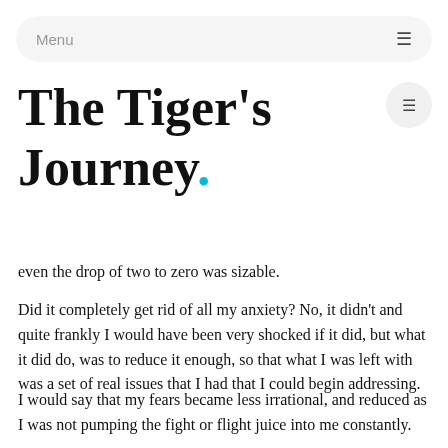Menu
The Tiger's Journey.
even the drop of two to zero was sizable.
Did it completely get rid of all my anxiety? No, it didn't and quite frankly I would have been very shocked if it did, but what it did do, was to reduce it enough, so that what I was left with was a set of real issues that I had that I could begin addressing.
I would say that my fears became less irrational, and reduced as I was not pumping the fight or flight juice into me constantly.